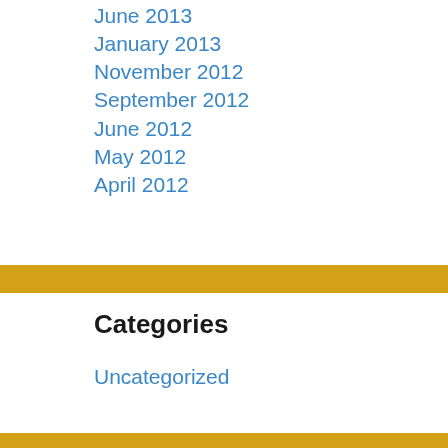June 2013
January 2013
November 2012
September 2012
June 2012
May 2012
April 2012
Categories
Uncategorized